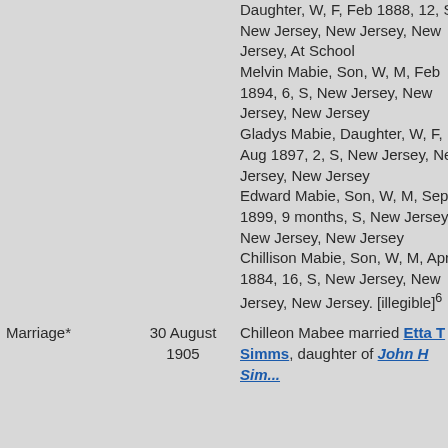| Event | Date | Details |
| --- | --- | --- |
|  |  | Daughter, W, F, Feb 1888, 12, S, New Jersey, New Jersey, New Jersey, At School
Melvin Mabie, Son, W, M, Feb 1894, 6, S, New Jersey, New Jersey, New Jersey
Gladys Mabie, Daughter, W, F, Aug 1897, 2, S, New Jersey, New Jersey, New Jersey
Edward Mabie, Son, W, M, Sept 1899, 9 months, S, New Jersey, New Jersey, New Jersey
Chillison Mabie, Son, W, M, Apr 1884, 16, S, New Jersey, New Jersey, New Jersey. [illegible]⁶ |
| Marriage* | 30 August 1905 | Chilleon Mabee married Etta T Simms, daughter of John H Sim... |